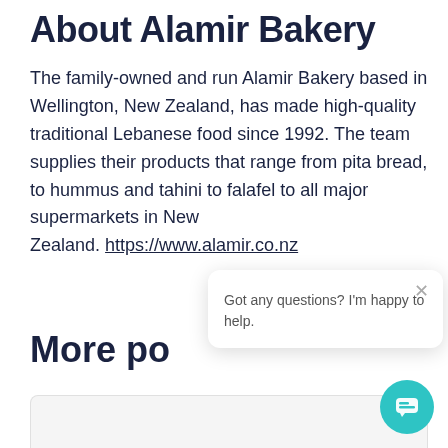About Alamir Bakery
The family-owned and run Alamir Bakery based in Wellington, New Zealand, has made high-quality traditional Lebanese food since 1992. The team supplies their products that range from pita bread, to hummus and tahini to falafel to all major supermarkets in New Zealand. https://www.alamir.co.nz
More po...
[Figure (screenshot): Chat popup overlay with close button and text 'Got any questions? I'm happy to help.' and a teal circular chat button in the bottom right corner.]